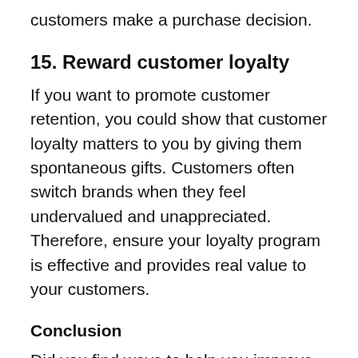customers make a purchase decision.
15. Reward customer loyalty
If you want to promote customer retention, you could show that customer loyalty matters to you by giving them spontaneous gifts. Customers often switch brands when they feel undervalued and unappreciated. Therefore, ensure your loyalty program is effective and provides real value to your customers.
Conclusion
Did you find ways to help you improve your customer loyalty from this tried-and-tested list? Customers want to know that you are not simply interested in